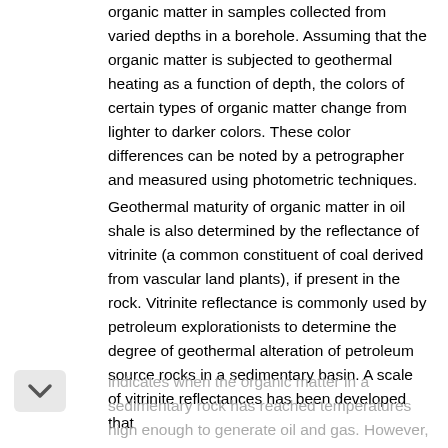organic matter in samples collected from varied depths in a borehole. Assuming that the organic matter is subjected to geothermal heating as a function of depth, the colors of certain types of organic matter change from lighter to darker colors. These color differences can be noted by a petrographer and measured using photometric techniques.
Geothermal maturity of organic matter in oil shale is also determined by the reflectance of vitrinite (a common constituent of coal derived from vascular land plants), if present in the rock. Vitrinite reflectance is commonly used by petroleum explorationists to determine the degree of geothermal alteration of petroleum source rocks in a sedimentary basin. A scale of vitrinite reflectances has been developed that indicates when the organic matter in a sedimentary rock has reached temperatures high enough to generate oil and gas. However, this method can pose a problem with respect to oil shale, because the reflectance of vitrinite may be depressed by the